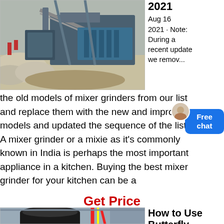[Figure (photo): Aerial view of a large mining/crushing plant with machinery, conveyor belts, and rocky terrain.]
2021
Aug 16 2021 · Note: During a recent update, we remov...
the old models of mixer grinders from our list and replace them with the new and improved models and updated the sequence of the list.. A mixer grinder or a mixie as it's commonly known in India is perhaps the most important appliance in a kitchen. Buying the best mixer grinder for your kitchen can be a
Get Price
[Figure (photo): Industrial wet grinder machine in a factory/warehouse setting with red and yellow pipes visible.]
How to Use Butterfly Wet...